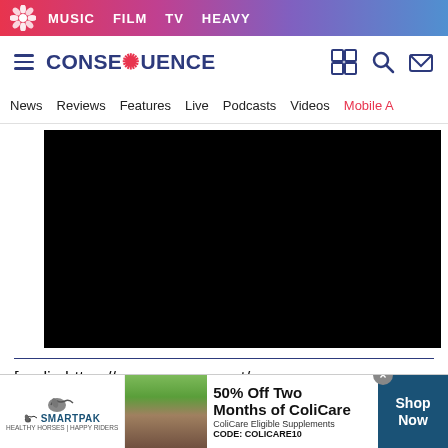MUSIC   FILM   TV   HEAVY
[Figure (logo): Consequence of Sound website header with hamburger menu, logo, and icons]
[Figure (screenshot): Navigation bar with links: News, Reviews, Features, Live, Podcasts, Videos, Mobile A]
[Figure (photo): Embedded black video player]
[audio:https://consequence.net/wp-content/uploads/2010/05/empire-of-the-sun-
[Figure (photo): SmartPak advertisement banner showing horse and woman with 50% Off Two Months of ColiCare offer, CODE: COLICARE10, Shop Now button]